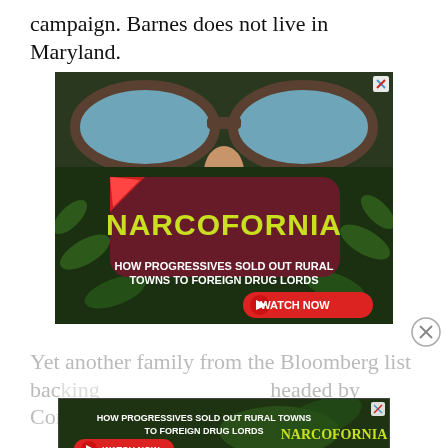campaign. Barnes does not live in Maryland.
[Figure (photo): Advertisement for 'Narcofornia' documentary showing a person wearing sunglasses with marijuana leaves, text reading 'HOW PROGRESSIVES SOLD OUT RURAL TOWNS TO FOREIGN DRUG LORDS' with a red Watch Now button and X close button]
Yet another family from the Bloomberg list backing  headed by Constance and Stanley Whitman Liko ...
[Figure (photo): Smaller banner ad for same Narcofornia documentary with Watch Now button]